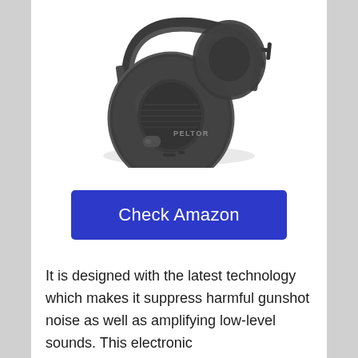[Figure (photo): Peltor brand electronic ear protection headphones/earmuffs in dark gray/black color, shown at an angle displaying the ear cup with the Peltor logo visible]
Check Amazon
It is designed with the latest technology which makes it suppress harmful gunshot noise as well as amplifying low-level sounds. This electronic